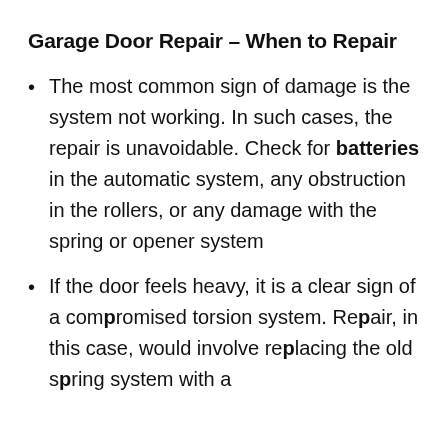Garage Door Repair – When to Repair
The most common sign of damage is the system not working. In such cases, the repair is unavoidable. Check for batteries in the automatic system, any obstruction in the rollers, or any damage with the spring or opener system
If the door feels heavy, it is a clear sign of a compromised torsion system. Repair, in this case, would involve replacing the old spring system with a